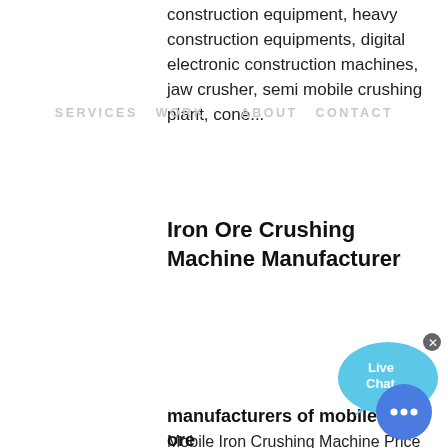construction machines, civil construction equipment, heavy construction equipments, digital electronic construction machines, jaw crusher, semi mobile crushing plant, cone...
SERVICES  WORK    ABOUT  CONTACT
Iron Ore Crushing Machine Manufacturer
[Figure (illustration): Live Chat speech bubble widget with close button, teal/blue color]
Mobile Iron Crushing Machine Price And. Mobile iron crushing machine price and manufacturers in india.We are a professional mining machinery manufacturer, the main equipment including jaw crusher, cone crusher and other sandstone equipmentball mill, flotation machine, concentrator and other...
[Figure (infographic): Color selector sidebar showing COLOR: label with Orange, Blue, Yellow options]
[Figure (illustration): Blue circular chat button with ellipsis dots]
manufacturers of mobile iron ore